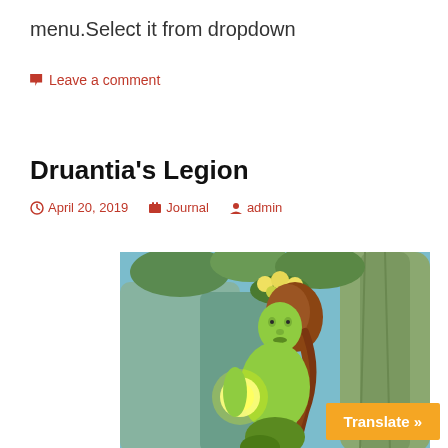menu.Select it from dropdown
Leave a comment
Druantia's Legion
April 20, 2019   Journal   admin
[Figure (illustration): Fantasy illustration of a green-skinned female figure with auburn hair adorned with flowers and foliage, holding a glowing orb, set against a blue-toned forest background with a large tree trunk.]
Translate »